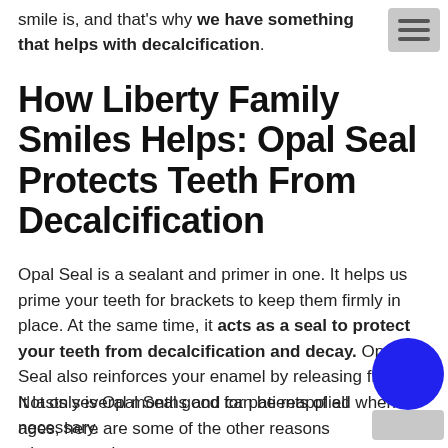smile is, and that's why we have something that helps with decalcification.
How Liberty Family Smiles Helps: Opal Seal Protects Teeth From Decalcification
Opal Seal is a sealant and primer in one. It helps us prime your teeth for brackets to keep them firmly in place. At the same time, it acts as a seal to protect your teeth from decalcification and decay. Opal Seal also reinforces your enamel by releasing fluoride. It lasts several months and can be reapplied when necessary.
Not only is Opal Seal good for patients of all ages, here are some of the other reasons why we use it: